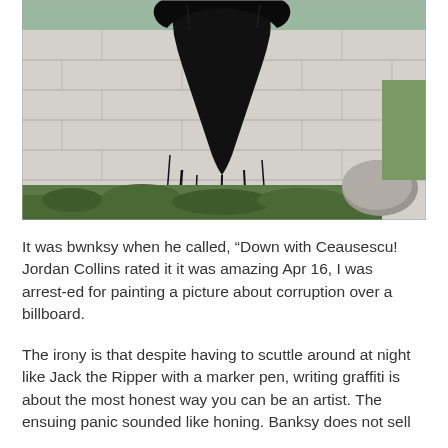[Figure (photo): A black spray-painted graffiti figure (appears to be a dark silhouette of a person or cloak) on a concrete block wall, with black paint drips running down the wall. Green vegetation and weeds are piled at the base of the wall, and a large rock is visible to the right. The setting appears to be an outdoor urban or suburban area.]
It was bwnksy when he called, “Down with Ceausescu! Jordan Collins rated it it was amazing Apr 16, I was arrested for painting a picture about corruption over a billboard.
The irony is that despite having to scuttle around at night like Jack the Ripper with a marker pen, writing graffiti is about the most honest way you can be an artist. The ensuing panic sounded like honing. Banksy does not sell